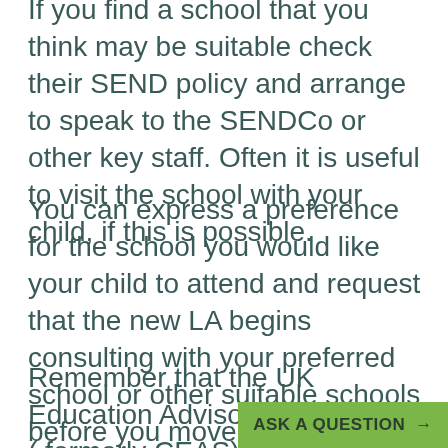If you find a school that you think may be suitable check their SEND policy and arrange to speak to the SENDCo or other key staff. Often it is useful to visit the school with your child, if this is possible.
You can express a preference for the school you would like your child to attend and request that the new LA begins consulting with your preferred school or other suitable schools before you move to your new location.
Remember that the UK Education Advisory Team (EAT) ( formerly CEAS) is there to support you through this process, so it is important to register your child with them
ASK A QUESTION →